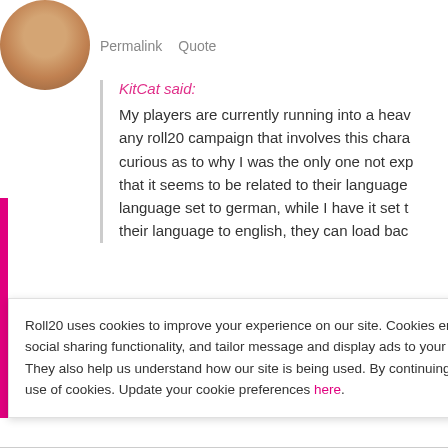[Figure (photo): Circular avatar image showing a person's face/hand close-up]
Permalink   Quote
KitCat said:
My players are currently running into a heavy any roll20 campaign that involves this chara curious as to why I was the only one not exp that it seems to be related to their language language set to german, while I have it set t their language to english, they can load bac
There was a recent translation done on the Ger are reports that users that have their roll20 lang
Roll20 uses cookies to improve your experience on our site. Cookies enable you to enjoy certain features, social sharing functionality, and tailor message and display ads to your interests on our site and others. They also help us understand how our site is being used. By continuing to use our site, you consent to our use of cookies. Update your cookie preferences here.